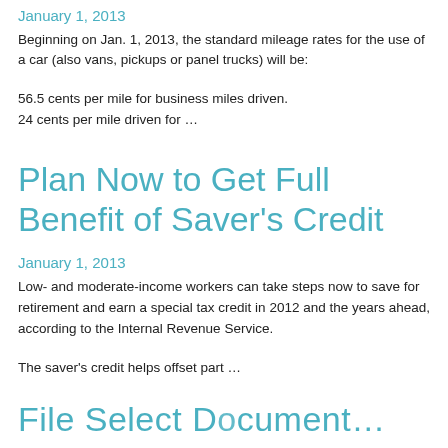January 1, 2013
Beginning on Jan. 1, 2013, the standard mileage rates for the use of a car (also vans, pickups or panel trucks) will be:
56.5 cents per mile for business miles driven.
24 cents per mile driven for …
Plan Now to Get Full Benefit of Saver's Credit
January 1, 2013
Low- and moderate-income workers can take steps now to save for retirement and earn a special tax credit in 2012 and the years ahead, according to the Internal Revenue Service.
The saver's credit helps offset part …
File Select Document…